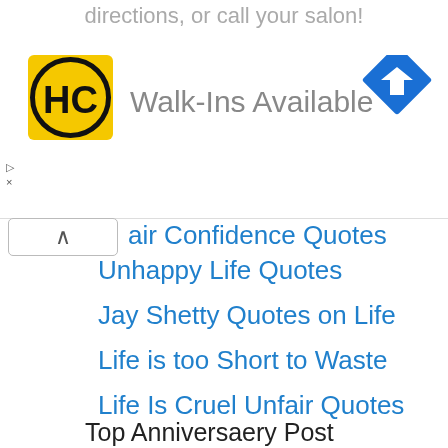directions, or call your salon!
[Figure (logo): HC logo — black H and C letters in a circle on yellow background]
[Figure (other): Blue diamond road sign with right-turn arrow]
Walk-Ins Available
air Confidence Quotes
Unhappy Life Quotes
Jay Shetty Quotes on Life
Life is too Short to Waste
Life Is Cruel Unfair Quotes
Buddha Quotes on Anger
Death Anniversary for Father
Work Anniversary Quotes
Top Anniversaery Post